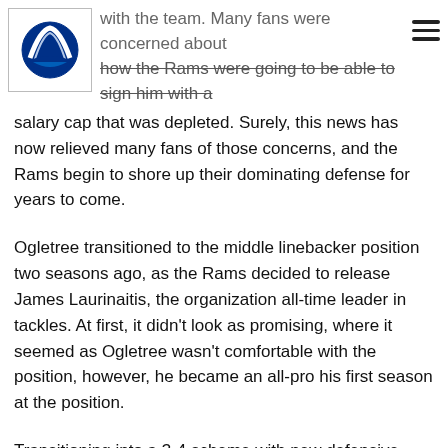reportedly agreed to a four year deal extension... with the team. Many fans were concerned about how the Rams were going to be able to sign him with a
salary cap that was depleted. Surely, this news has now relieved many fans of those concerns, and the Rams begin to shore up their dominating defense for years to come.
Ogletree transitioned to the middle linebacker position two seasons ago, as the Rams decided to release James Laurinaitis, the organization all-time leader in tackles. At first, it didn't look as promising, where it seemed as Ogletree wasn't comfortable with the position, however, he became an all-pro his first season at the position.
Transitioning into a 3-4 scheme with new defensive coordinator Wade Phillips, he has been complemented with fellowed inside linebacker Mark Barron, who is currently the team leader tackler.